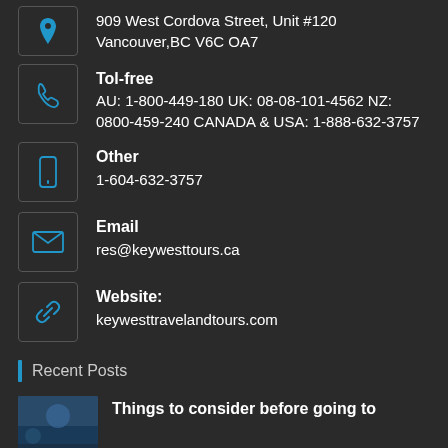909 West Cordova Street, Unit #120 Vancouver,BC V6C OA7
Tol-free
AU: 1-800-449-180 UK: 08-08-101-4562 NZ: 0800-459-240 CANADA & USA: 1-888-632-3757
Other
1-604-632-3757
Email
res@keywesttours.ca
Website:
keywesttravelandtours.com
Recent Posts
Things to consider before going to